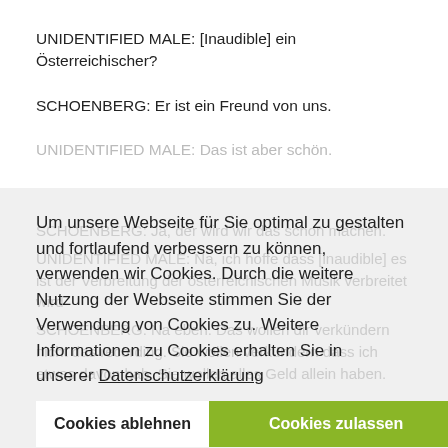UNIDENTIFIED MALE: [Inaudible] ein Österreichischer?
SCHOENBERG: Er ist ein Freund von uns.
UNIDENTIFIED MALE: Das ist aber schön.
SCHOENBERG: Ja, der wird wir das schon machen.
UNIDENTIFIED MALE: Na, ich hoffe dass [inaudible] es ist der Verbreitung der österreichischen Musik verbreitet wird
Um unsere Webseite für Sie optimal zu gestalten und fortlaufend verbessern zu können, verwenden wir Cookies. Durch die weitere Nutzung der Webseite stimmen Sie der Verwendung von Cookies zu. Weitere Informationen zu Cookies erhalten Sie in unserer Datenschutzerklärung
SCHOENBERG: Na eben. Das wollen dir verkündern nicht das recording. Sie wollen verkündern dass ich etwas davon hab. Sie wollen alles Geld allein haben.
Cookies ablehnen
Cookies zulassen